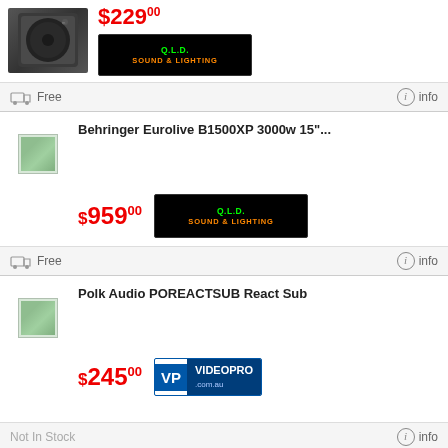[Figure (photo): Product image - dark speaker cover/case (partial, top of page)]
$229.00
[Figure (logo): QLD Sound & Lighting store badge logo]
[Figure (other): Truck/shipping icon - Free shipping]
Free
info
Behringer Eurolive B1500XP 3000w 15"...
$959.00
[Figure (logo): QLD Sound & Lighting store badge logo]
[Figure (other): Truck/shipping icon - Free shipping]
Free
info
Polk Audio POREACTSUB React Sub
$245.00
[Figure (logo): VP VideoPro.com.au store badge logo]
Not In Stock
info
Bowers & Wilkins ASW610MW Matte White...